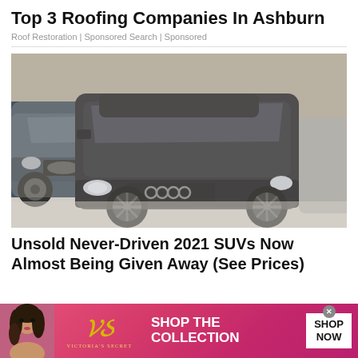Top 3 Roofing Companies In Ashburn
Roof Restoration | Sponsored Search | Sponsored
[Figure (photo): Multiple dusty/dirty SUVs parked indoors including an Audi Q7 in the foreground, a BMW X5 and other vehicles covered in dust]
Unsold Never-Driven 2021 SUVs Now Almost Being Given Away (See Prices)
[Figure (photo): Victoria's Secret advertisement banner with a model, the VS logo, 'SHOP THE COLLECTION' text and a 'SHOP NOW' button]